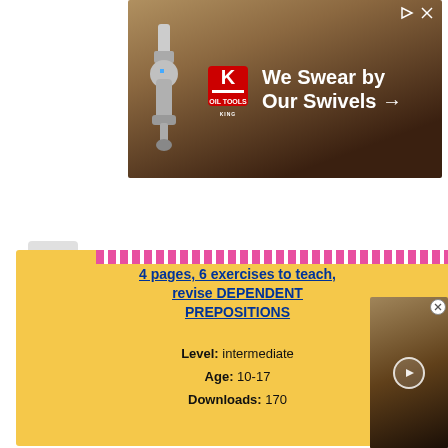[Figure (screenshot): King Oil Tools advertisement banner: 'We Swear by Our Swivels →' with King logo and robotic arm imagery on brown/tan background]
4 pages, 6 exercises to teach, revise DEPENDENT PREPOSITIONS
Level: intermediate
Age: 10-17
Downloads: 170
[Figure (illustration): Growing Up worksheet thumbnail showing a colorful educational worksheet about stages of growing up, with sections for different age ranges and vocabulary word bank]
[Figure (photo): Video thumbnail showing hands typing on a laptop keyboard, with a play button overlay]